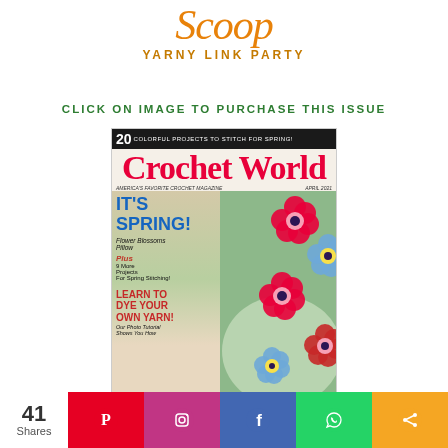[Figure (logo): Scoop Yarny Link Party logo with italic orange script 'Scoop' text and golden 'YARNY LINK PARTY' subtitle]
CLICK ON IMAGE TO PURCHASE THIS ISSUE
[Figure (photo): Cover of Crochet World magazine April 2021 issue featuring colorful crocheted flowers on a pillow. Text: 20 COLORFUL PROJECTS TO STITCH FOR SPRING!, Crochet World, America's Favorite Crochet Magazine, April 2021, IT'S SPRING! Flower Blossoms Pillow, Plus 9 More Projects For Spring Stitching!, LEARN TO DYE YOUR OWN YARN! Our Photo Tutorial Shows You How]
41
Shares